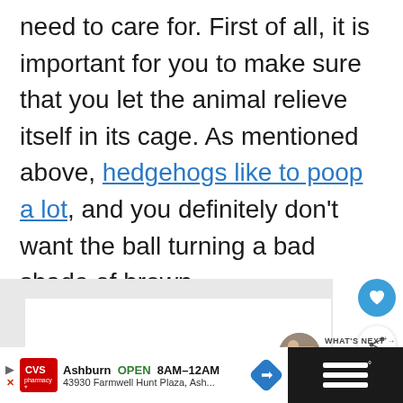need to care for. First of all, it is important for you to make sure that you let the animal relieve itself in its cage. As mentioned above, hedgehogs like to poop a lot, and you definitely don't want the ball turning a bad shade of brown.
[Figure (screenshot): Website UI elements: heart favorite button (blue circle), share button (white circle with share icon), and a 'What's Next' panel showing a thumbnail image and text 'Why Do Hedgehogs...']
[Figure (screenshot): Advertisement bar at bottom: CVS Pharmacy ad showing 'Ashburn OPEN 8AM-12AM, 43930 Farmwell Hunt Plaza, Ash...' with CVS logo, navigation arrow, and blue diamond direction icon. Right section is black with white bars icon.]